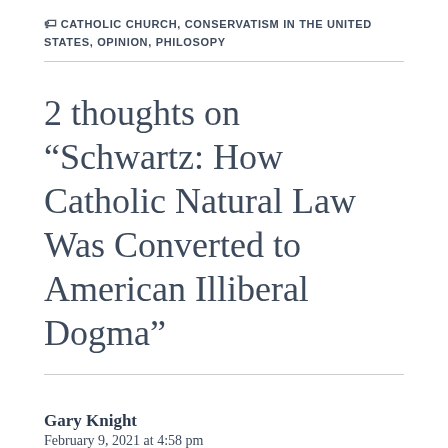🏷 CATHOLIC CHURCH, CONSERVATISM IN THE UNITED STATES, OPINION, PHILOSOPY
2 thoughts on “Schwartz: How Catholic Natural Law Was Converted to American Illiberal Dogma”
Gary Knight
February 9, 2021 at 4:58 pm